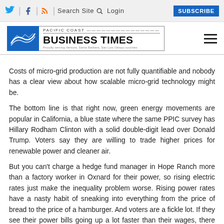Twitter | Facebook | RSS | Search Site | Login | SUBSCRIBE
[Figure (logo): Pacific Coast Business Times logo with blue box icon and text]
Costs of micro-grid production are not fully quantifiable and nobody has a clear view about how scalable micro-grid technology might be.
The bottom line is that right now, green energy movements are popular in California, a blue state where the same PPIC survey has Hillary Rodham Clinton with a solid double-digit lead over Donald Trump. Voters say they are willing to trade higher prices for renewable power and cleaner air.
But you can't charge a hedge fund manager in Hope Ranch more than a factory worker in Oxnard for their power, so rising electric rates just make the inequality problem worse. Rising power rates have a nasty habit of sneaking into everything from the price of bread to the price of a hamburger. And voters are a fickle lot. If they see their power bills going up a lot faster than their wages, there may be a backlash.